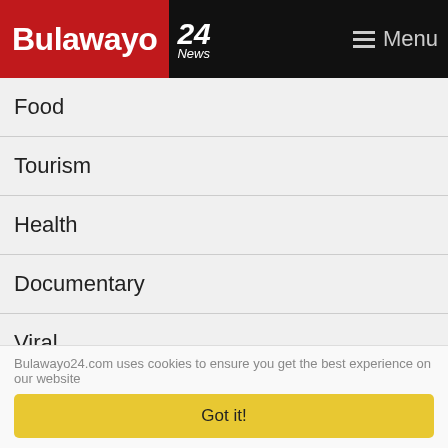Bulawayo 24 News — Menu
Food
Tourism
Health
Documentary
Viral
Other
News Archive
Widgets
Site map
RSS Feeds
About Us
Bulawayo24.com uses cookies to ensure you get the best experience on our website
Got it!